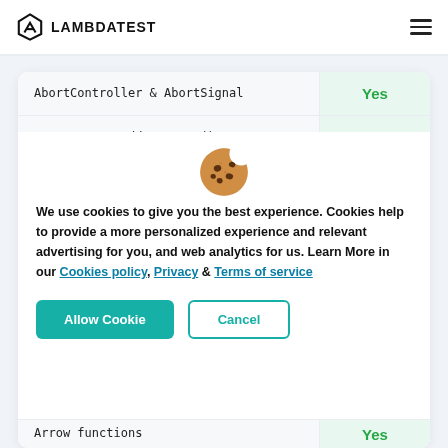LAMBDATEST
| AbortController & AbortSignal | Yes |
| EventTarget.addEventListener() | Yes |
| Arrow functions | Yes |
[Figure (illustration): Cookie emoji icon]
We use cookies to give you the best experience. Cookies help to provide a more personalized experience and relevant advertising for you, and web analytics for us. Learn More in our Cookies policy, Privacy & Terms of service
Allow Cookie | Cancel